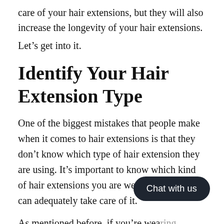care of your hair extensions, but they will also increase the longevity of your hair extensions.
Let's get into it.
Identify Your Hair Extension Type
One of the biggest mistakes that people make when it comes to hair extensions is that they don't know which type of hair extension they are using. It's important to know which kind of hair extensions you are wearing so that you can adequately take care of it.
As mentioned before, if you're wearing synthetic extensions, you don't want to treat them like human
[Figure (other): Chat with us button overlay in dark rounded pill shape]